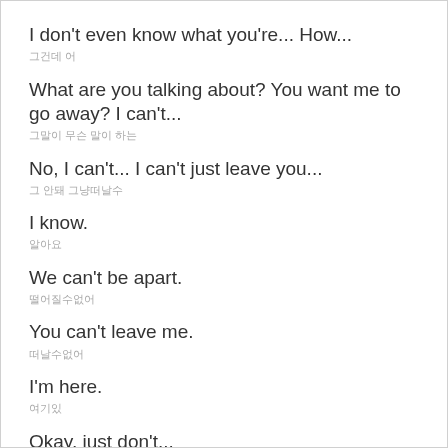I don't even know what you're... How...
그건데 어
What are you talking about? You want me to go away? I can't...
그말이 무슨 말이 하는
No, I can't... I can't just leave you...
그 안돼 그냥떠날수
I know.
알아요
We can't be apart.
떨어질수없어
You can't leave me.
떠날수없어
I'm here.
여기있
Okay, just don't...
그 싫어요